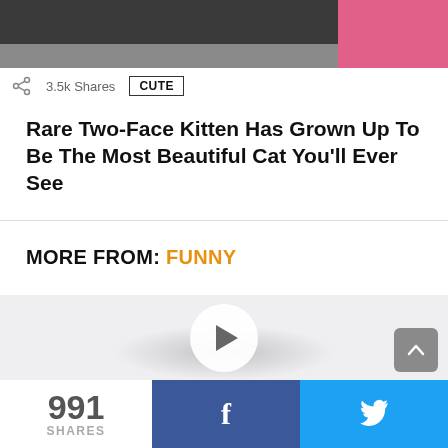[Figure (photo): Partial view of a cat photo with dark fur at top and pink element at right]
3.5k Shares   CUTE
Rare Two-Face Kitten Has Grown Up To Be The Most Beautiful Cat You'll Ever See
MORE FROM: FUNNY
[Figure (screenshot): Video player area with play button in center and radial shadow below]
991 SHARES